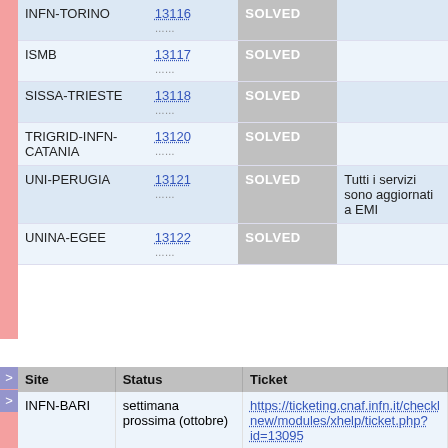| Site | Ticket | Status | Notes |
| --- | --- | --- | --- |
| INFN-TORINO | 13116 | SOLVED |  |
| ISMB | 13117 | SOLVED |  |
| SISSA-TRIESTE | 13118 | SOLVED |  |
| TRIGRID-INFN-CATANIA | 13120 | SOLVED |  |
| UNI-PERUGIA | 13121 | SOLVED | Tutti i servizi sono aggiornati a EMI |
| UNINA-EGEE | 13122 | SOLVED |  |
| Site | Status | Ticket |
| --- | --- | --- |
| INFN-BARI | settimana prossima (ottobre) | https://ticketing.cnaf.infn.it/checklist/new/modules/xhelp/ticket.php?id=13095 |
| GILDA-PADOVA | 26 Settembre: le macchine sono arrivate sito in | https://ticketing.cnaf.infn.it/checklist/new/modules/xhelp/ticket.php?id=13086 |